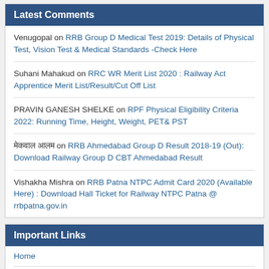Latest Comments
Venugopal on RRB Group D Medical Test 2019: Details of Physical Test, Vision Test & Medical Standards -Check Here
Suhani Mahakud on RRC WR Merit List 2020 : Railway Act Apprentice Merit List/Result/Cut Off List
PRAVIN GANESH SHELKE on RPF Physical Eligibility Criteria 2022: Running Time, Height, Weight, PET& PST
मेकवाल आलम on RRB Ahmedabad Group D Result 2018-19 (Out): Download Railway Group D CBT Ahmedabad Result
Vishakha Mishra on RRB Patna NTPC Admit Card 2020 (Available Here) : Download Hall Ticket for Railway NTPC Patna @ rrbpatna.gov.in
Important Links
Home
Latest Jobs